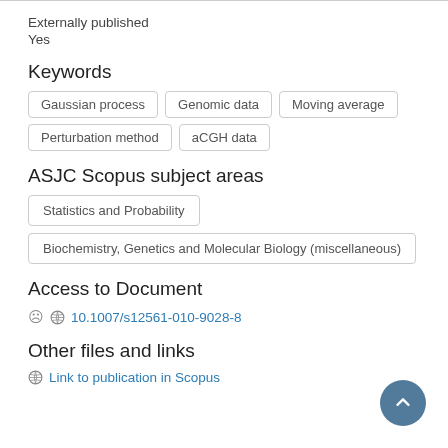Externally published
Yes
Keywords
Gaussian process
Genomic data
Moving average
Perturbation method
aCGH data
ASJC Scopus subject areas
Statistics and Probability
Biochemistry, Genetics and Molecular Biology (miscellaneous)
Access to Document
10.1007/s12561-010-9028-8
Other files and links
Link to publication in Scopus